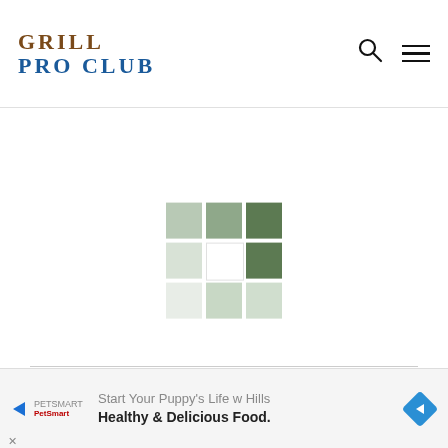GRILL PRO CLUB
[Figure (logo): Loading spinner / logo grid made of 3x3 green-tinted squares with varying shades]
[Figure (logo): GRILL PRO CLUB footer logo in large serif text with social media icons below (Facebook, Instagram, VK, YouTube)]
[Figure (other): Advertisement banner for PetSmart Hill's puppy food: 'Start Your Puppy's Life w Hills Healthy & Delicious Food.']